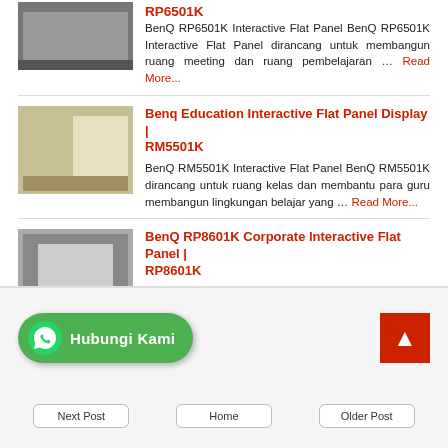BenQ RP6501K Interactive Flat Panel BenQ RP6501K Interactive Flat Panel dirancang untuk membangun ruang meeting dan ruang pembelajaran … Read More...
Benq Education Interactive Flat Panel Display | RM5501K — BenQ RM5501K Interactive Flat Panel BenQ RM5501K dirancang untuk ruang kelas dan membantu para guru membangun lingkungan belajar yang … Read More...
BenQ RP8601K Corporate Interactive Flat Panel | RP8601K — BenQ RP8601K Interactive Flat Panel BenQ RP8601K Interactive Flat Panel dirancang untuk membangun ruang meeting dan ruang pembelajaran … Read More...
[Figure (other): WhatsApp Hubungi Kami button (green rounded button with WhatsApp icon)]
[Figure (other): Back to top button (red square with upward arrow)]
Next Post | Home | Older Post